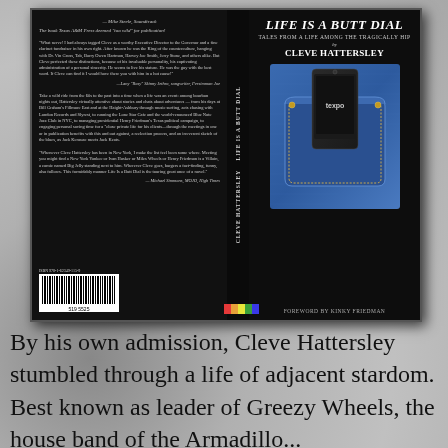[Figure (photo): Book cover of 'Life Is a Butt Dial: Tales from a Life Among the Tragically Hip' by Cleve Hattersley. Shows front and back cover and spine on a dark background. Front cover features jeans pocket with a cell phone, back cover has review quotes and barcode. Foreword by Kinky Friedman.]
By his own admission, Cleve Hattersley stumbled through a life of adjacent stardom. Best known as leader of Greezy Wheels, the house band of the Armadillo...